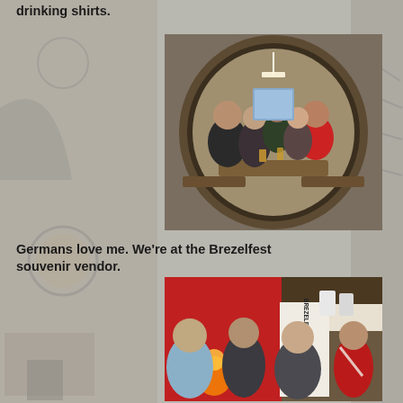drinking shirts.
[Figure (photo): Group of people sitting inside a large wooden barrel booth at a German beer hall, drinking and smiling. One person wears a red Bayern Munich jersey.]
Germans love me. We're at the Brezelfest souvenir vendor.
[Figure (photo): Four people posing at the Brezelfest souvenir vendor stall, with a red and white background showing the Brezelfest banner. One woman wears a red soccer jersey.]